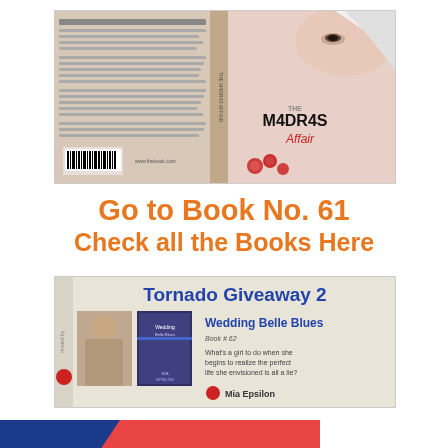[Figure (illustration): Book cover for 'The M4DR4S Affair' showing front and back covers with a face and roses visible on the right side]
Go to Book No. 61
Check all the Books Here
[Figure (illustration): Tornado Giveaway 2 banner featuring 'Wedding Belle Blues' Book #62 by Mia Epsilon with book cover and description 'What's a girl to do when she begins to realize the perfect life she envisioned is all a lie?']
[Figure (illustration): Partial view of another book cover at the bottom of the page with blue and red diagonal design]